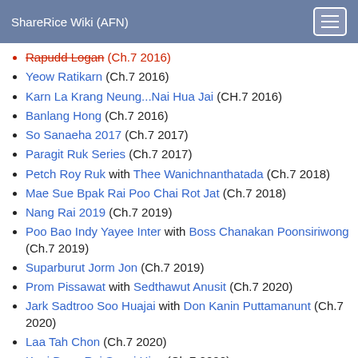ShareRice Wiki (AFN)
Rapudd Logan (Ch.7 2016) [strikethrough/red]
Yeow Ratikarn (Ch.7 2016)
Karn La Krang Neung...Nai Hua Jai (CH.7 2016)
Banlang Hong (Ch.7 2016)
So Sanaeha 2017 (Ch.7 2017)
Paragit Ruk Series (Ch.7 2017)
Petch Roy Ruk with Thee Wanichnanthatada (Ch.7 2018)
Mae Sue Bpak Rai Poo Chai Rot Jat (Ch.7 2018)
Nang Rai 2019 (Ch.7 2019)
Poo Bao Indy Yayee Inter with Boss Chanakan Poonsiriwong (Ch.7 2019)
Suparburut Jorm Jon (Ch.7 2019)
Prom Pissawat with Sedthawut Anusit (Ch.7 2020)
Jark Sadtroo Soo Huajai with Don Kanin Puttamanunt (Ch.7 2020)
Laa Tah Chon (Ch.7 2020)
Koei Baan Rai Sapai Hiso (Ch.7 2022)
Jao Sao Jum Loey (Ch.7 2022)
Buang Wimala (Ch.7 2022)
Petra Narumit (Ch.7 Upcoming)